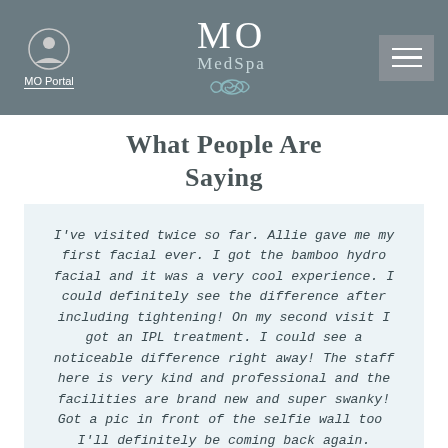[Figure (logo): MO MedSpa navigation bar with portal icon, MO MedSpa logo with infinity symbol, and hamburger menu button on dark grey background]
What People Are Saying
I've visited twice so far. Allie gave me my first facial ever. I got the bamboo hydro facial and it was a very cool experience. I could definitely see the difference after including tightening! On my second visit I got an IPL treatment. I could see a noticeable difference right away! The staff here is very kind and professional and the facilities are brand new and super swanky! Got a pic in front of the selfie wall too  I'll definitely be coming back again.
Sara K. on Yelp!